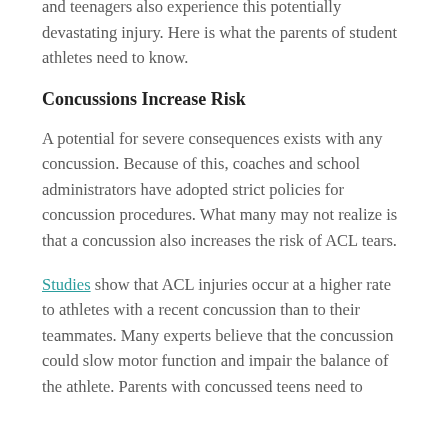and teenagers also experience this potentially devastating injury. Here is what the parents of student athletes need to know.
Concussions Increase Risk
A potential for severe consequences exists with any concussion. Because of this, coaches and school administrators have adopted strict policies for concussion procedures. What many may not realize is that a concussion also increases the risk of ACL tears.
Studies show that ACL injuries occur at a higher rate to athletes with a recent concussion than to their teammates. Many experts believe that the concussion could slow motor function and impair the balance of the athlete. Parents with concussed teens need to